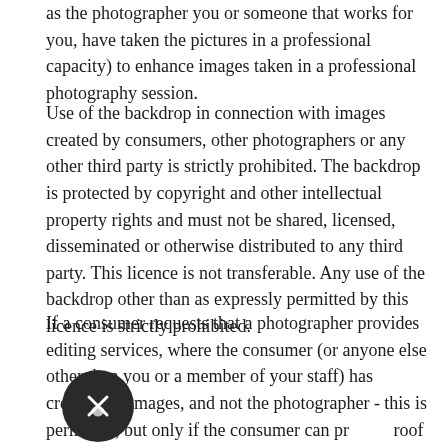as the photographer you or someone that works for you, have taken the pictures in a professional capacity) to enhance images taken in a professional photography session.
Use of the backdrop in connection with images created by consumers, other photographers or any other third party is strictly prohibited. The backdrop is protected by copyright and other intellectual property rights and must not be shared, licensed, disseminated or otherwise distributed to any third party. This licence is not transferable. Any use of the backdrop other than as expressly permitted by this licence is strictly prohibited.
If a consumer requests that a photographer provides editing services, where the consumer (or anyone else other than you or a member of your staff) has created the images, and not the photographer - this is permitted, but only if the consumer can provide proof that they have purchased the backdrop themselves. Once you have created the final final artwork (provided the editing service), you must not keep the digital backdrop template for your own usage, unless you have purchased it yourself.